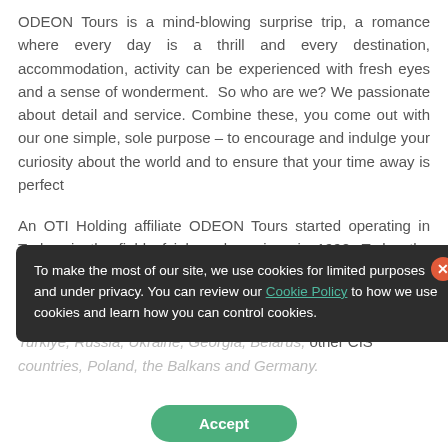ODEON Tours is a mind-blowing surprise trip, a romance where every day is a thrill and every destination, accommodation, activity can be experienced with fresh eyes and a sense of wonderment. So who are we? We passionate about detail and service. Combine these, you come out with our one simple, sole purpose – to encourage and indulge your curiosity about the world and to ensure that your time away is perfect
An OTI Holding affiliate ODEON Tours started operating in Turkey in the field of inbound services in 1992. Today the company offers accommodation, welcoming, and other services in Turkey, Egypt, Thailand, Spain, UAE and Greece to tour operators from Turkiye, Russia, Ukraine, Georgia, Belarus, other CIS countries, Poland, the Balkans and Germany.
To make the most of our site, we use cookies for limited purposes and under privacy. You can review our Cookie Policy to how we use cookies and learn how you can control cookies.